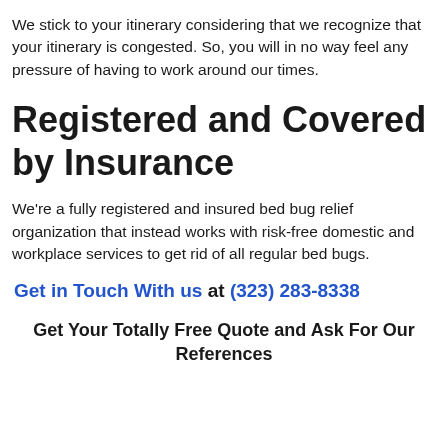We stick to your itinerary considering that we recognize that your itinerary is congested. So, you will in no way feel any pressure of having to work around our times.
Registered and Covered by Insurance
We're a fully registered and insured bed bug relief organization that instead works with risk-free domestic and workplace services to get rid of all regular bed bugs.
Get in Touch With us at (323) 283-8338
Get Your Totally Free Quote and Ask For Our References